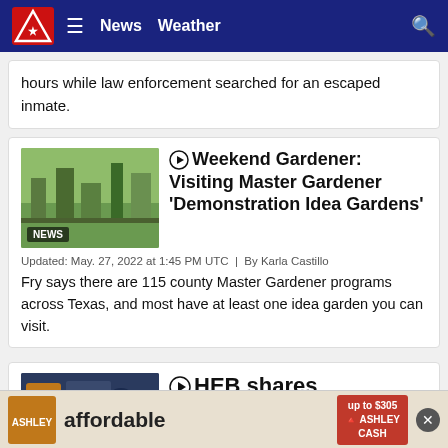News  Weather
hours while law enforcement searched for an escaped inmate.
[Figure (photo): Garden thumbnail image with NEWS label]
Weekend Gardener: Visiting Master Gardener 'Demonstration Idea Gardens'
Updated: May. 27, 2022 at 1:45 PM UTC  |  By Karla Castillo
Fry says there are 115 county Master Gardener programs across Texas, and most have at least one idea garden you can visit.
[Figure (screenshot): HEB news thumbnail with NEWS label]
HEB shares affordable ... to enjoy th...
[Figure (photo): Ashley Furniture advertisement banner - affordable, Ashley Cash up to $305]